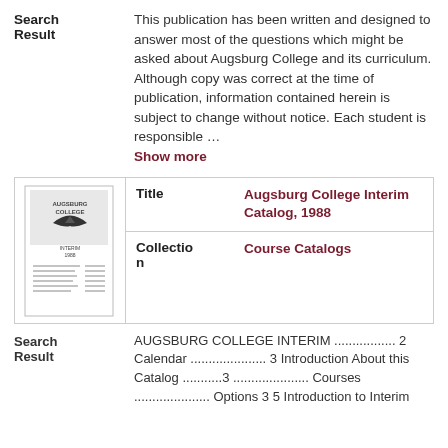Search Result
This publication has been written and designed to answer most of the questions which might be asked about Augsburg College and its curriculum. Although copy was correct at the time of publication, information contained herein is subject to change without notice. Each student is responsible ... Show more
|  | Field | Value |
| --- | --- | --- |
| [thumbnail] | Title | Augsburg College Interim Catalog, 1988 |
|  | Collection | Course Catalogs |
Search Result
AUGSBURG COLLEGE INTERIM ................. 2 Calendar ..................... 3 Introduction About this Catalog ...........3 ..................... Courses ..................... Options 3 5 Introduction to Interim